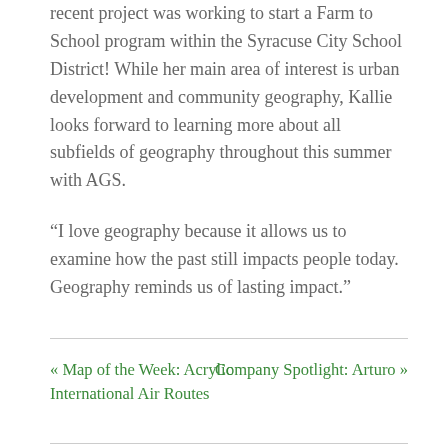recent project was working to start a Farm to School program within the Syracuse City School District! While her main area of interest is urban development and community geography, Kallie looks forward to learning more about all subfields of geography throughout this summer with AGS.
“I love geography because it allows us to examine how the past still impacts people today. Geography reminds us of lasting impact.”
« Map of the Week: Acrylic International Air Routes    Company Spotlight: Arturo »